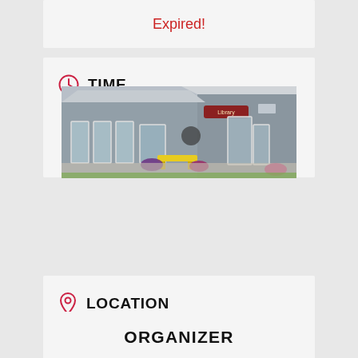Expired!
TIME
10:00 am - 11:00 am
[Figure (photo): Exterior photo of North Sydney Library building with yellow bench and flower planters]
LOCATION
North Sydney Library
309 Commercial Street
North Sydney, NS B2A 1B9
ORGANIZER